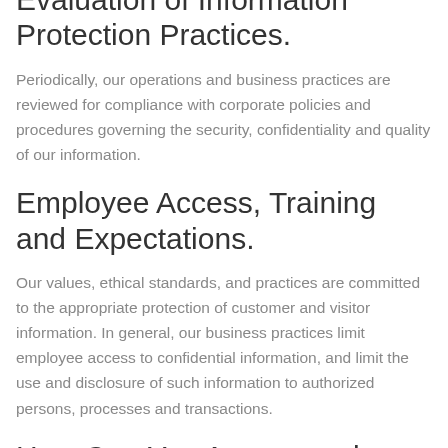Evaluation of Information Protection Practices.
Periodically, our operations and business practices are reviewed for compliance with corporate policies and procedures governing the security, confidentiality and quality of our information.
Employee Access, Training and Expectations.
Our values, ethical standards, and practices are committed to the appropriate protection of customer and visitor information. In general, our business practices limit employee access to confidential information, and limit the use and disclosure of such information to authorized persons, processes and transactions.
How Can You Access and Correct Your Information?